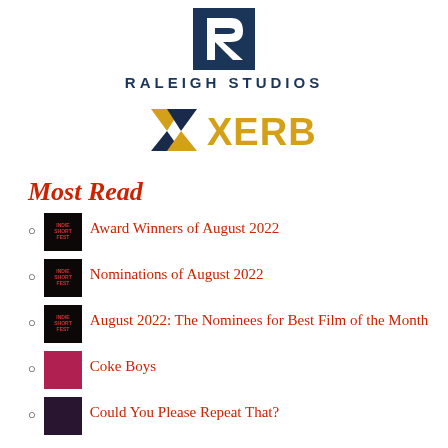[Figure (logo): Raleigh Studios logo — dark blue R letterform with RALEIGH STUDIOS text below]
[Figure (logo): XERB logo — gold/yellow X icon and gold XERB text]
Most Read
Award Winners of August 2022
Nominations of August 2022
August 2022: The Nominees for Best Film of the Month
Coke Boys
Could You Please Repeat That?